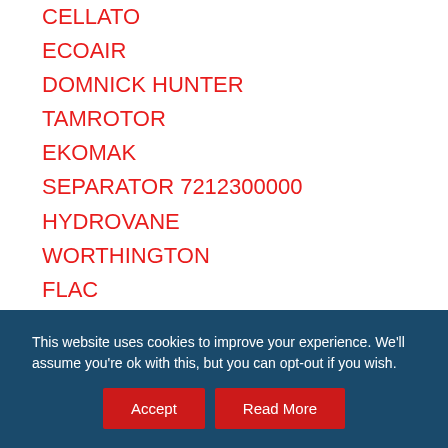CELLATO
ECOAIR
DOMNICK HUNTER
TAMROTOR
EKOMAK
SEPARATOR 7212300000
HYDROVANE
WORTHINGTON
FLAC
Kirloskar
KOBELCO
DEMAG
Belair
FS CURTIUS
Fini
This website uses cookies to improve your experience. We'll assume you're ok with this, but you can opt-out if you wish.
Accept
Read More